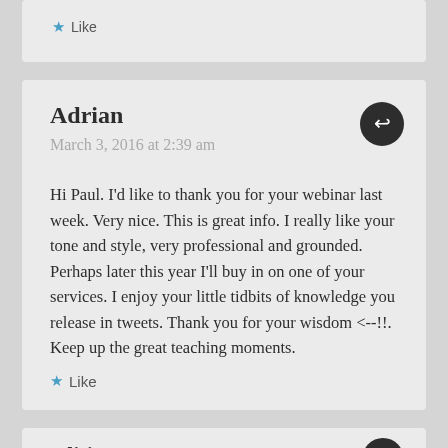Like
Adrian
March 3, 2016 at 2:39 am
Hi Paul. I'd like to thank you for your webinar last week. Very nice. This is great info. I really like your tone and style, very professional and grounded. Perhaps later this year I'll buy in on one of your services. I enjoy your little tidbits of knowledge you release in tweets. Thank you for your wisdom <--!!. Keep up the great teaching moments.
Like
aditi